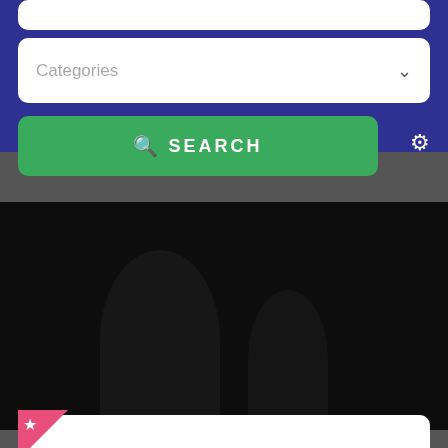[Figure (screenshot): Mobile app UI showing a blue navigation bar with a white Categories dropdown with chevron, a green Search button with magnifying glass icon, a settings gear icon, a dark near-black image panel, and a white card at the bottom with a pink star badge corner.]